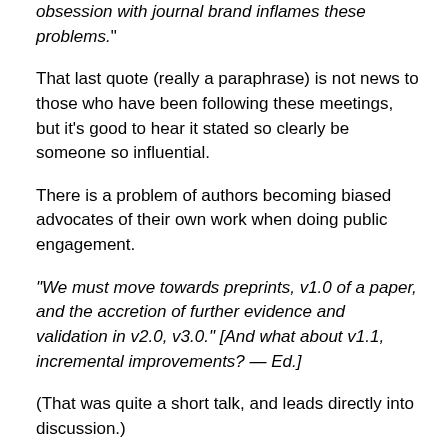“obsession with journal brand inflames these problems.”
That last quote (really a paraphrase) is not news to those who have been following these meetings, but it’s good to hear it stated so clearly be someone so influential.
There is a problem of authors becoming biased advocates of their own work when doing public engagement.
“We must move towards preprints, v1.0 of a paper, and the accretion of further evidence and validation in v2.0, v3.0.” [And what about v1.1, incremental improvements? — Ed.]
(That was quite a short talk, and leads directly into discussion.)
Floor discussion